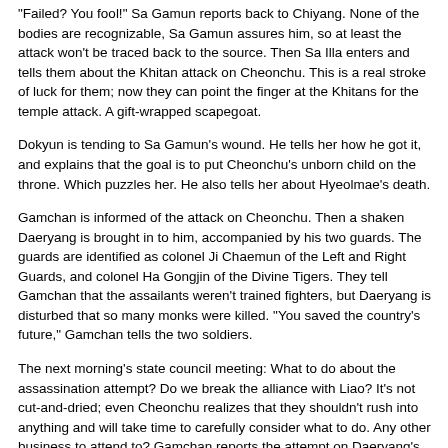"Failed? You fool!" Sa Gamun reports back to Chiyang. None of the bodies are recognizable, Sa Gamun assures him, so at least the attack won't be traced back to the source. Then Sa Illa enters and tells them about the Khitan attack on Cheonchu. This is a real stroke of luck for them; now they can point the finger at the Khitans for the temple attack. A gift-wrapped scapegoat.
Dokyun is tending to Sa Gamun's wound. He tells her how he got it, and explains that the goal is to put Cheonchu's unborn child on the throne. Which puzzles her. He also tells her about Hyeolmae's death.
Gamchan is informed of the attack on Cheonchu. Then a shaken Daeryang is brought in to him, accompanied by his two guards. The guards are identified as colonel Ji Chaemun of the Left and Right Guards, and colonel Ha Gongjin of the Divine Tigers. They tell Gamchan that the assailants weren't trained fighters, but Daeryang is disturbed that so many monks were killed. "You saved the country's future," Gamchan tells the two soldiers.
The next morning's state council meeting: What to do about the assassination attempt? Do we break the alliance with Liao? It's not cut-and-dried; even Cheonchu realizes that they shouldn't rush into anything and will take time to carefully consider what to do. Any other business to attend to? Gamchan reports the attempt on Daeryang's life, which is news and sets the room buzzing. He's safely at my home, Gamchan says, and also says he believes that someone inside the country is responsible for the attempt, not a foreign enemy. Chiyang turns on him, accusing him of "baseless speculation" and saying that the Khitans were the obvious